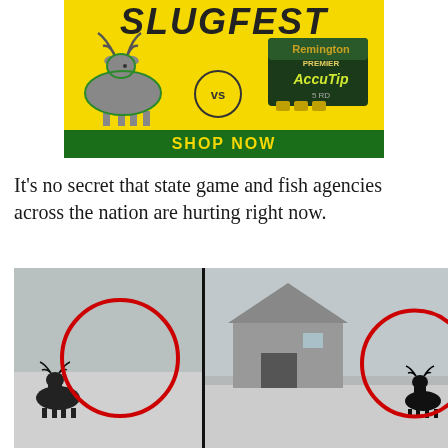[Figure (advertisement): Yellow background advertisement showing 'SLUGFEST' text at top with a deer on the left facing a Remington Premier AccuTip ammunition box on the right, separated by a VS circle. Green bar at bottom reads 'SHOP NOW'.]
It's no secret that state game and fish agencies across the nation are hurting right now.
[Figure (photo): Two side-by-side grayscale photos each showing a dark animal (deer or similar) in a winter outdoor scene with red circle overlays highlighting the animals. Left photo shows animal near water, right photo shows a building structure with animal nearby.]